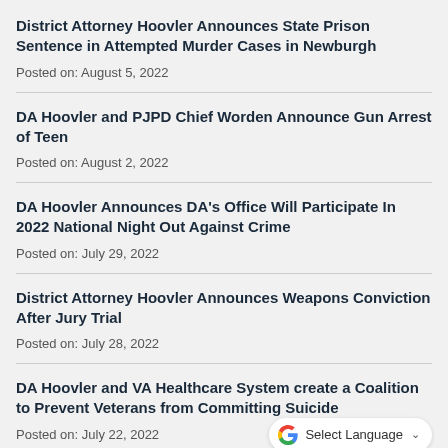District Attorney Hoovler Announces State Prison Sentence in Attempted Murder Cases in Newburgh
Posted on: August 5, 2022
DA Hoovler and PJPD Chief Worden Announce Gun Arrest of Teen
Posted on: August 2, 2022
DA Hoovler Announces DA's Office Will Participate In 2022 National Night Out Against Crime
Posted on: July 29, 2022
District Attorney Hoovler Announces Weapons Conviction After Jury Trial
Posted on: July 28, 2022
DA Hoovler and VA Healthcare System create a Coalition to Prevent Veterans from Committing Suicide
Posted on: July 22, 2022
District Attorney Hoovler Announces State Pri...